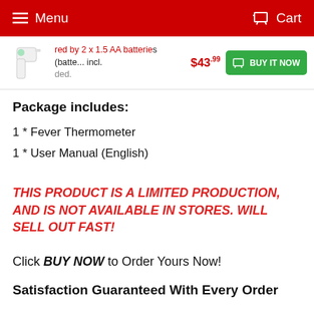Menu  Cart
[Figure (screenshot): Partial product sticky bar showing a thermometer thumbnail, partial text about 1.5 AA batteries, price $43.99, and a green BUY IT NOW button with cart icon]
Package includes:
1 * Fever Thermometer
1 * User Manual (English)
THIS PRODUCT IS A LIMITED PRODUCTION, AND IS NOT AVAILABLE IN STORES. WILL SELL OUT FAST!
Click BUY NOW to Order Yours Now!
Satisfaction Guaranteed With Every Order